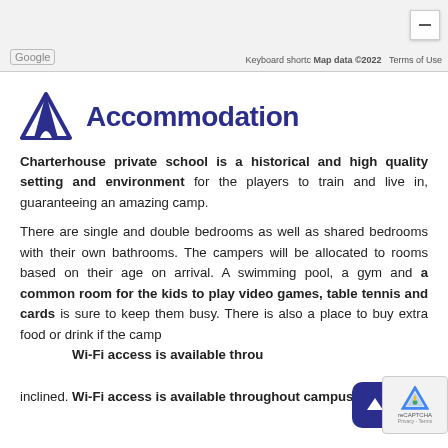[Figure (screenshot): Google Maps footer bar showing Google logo, keyboard shortcuts link, Map data ©2022, Terms of Use, and a zoom minus button]
Accommodation
Charterhouse private school is a historical and high quality setting and environment for the players to train and live in, guaranteeing an amazing camp.
There are single and double bedrooms as well as shared bedrooms with their own bathrooms. The campers will be allocated to rooms based on their age on arrival. A swimming pool, a gym and a common room for the kids to play video games, table tennis and cards is sure to keep them busy. There is also a place to buy extra food or drink if the campers are so inclined. Wi-Fi access is available throughout campus.